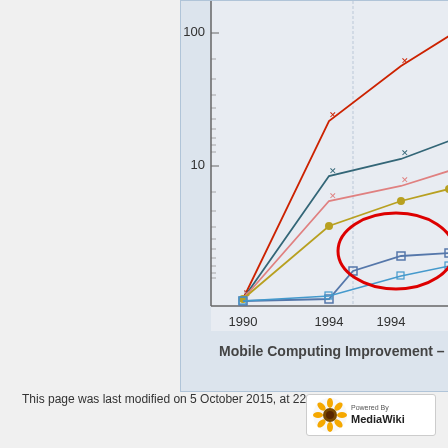[Figure (continuous-plot): Partial view of a multi-series line chart on a log scale showing computing improvement trends from 1990 to 1994+. Multiple colored lines (red, teal/dark, gold/yellow, blue with square markers) rise from bottom-left. A red oval highlights a cluster of data points around 1994-1998 range. Y-axis shows log scale values 10 and 100. X-axis shows years 1990, 1994 (repeated twice). Chart is cropped — left and top edges cut off.]
This page was last modified on 5 October 2015, at 22:03.
Privacy policy   About IS480   Disclaimers